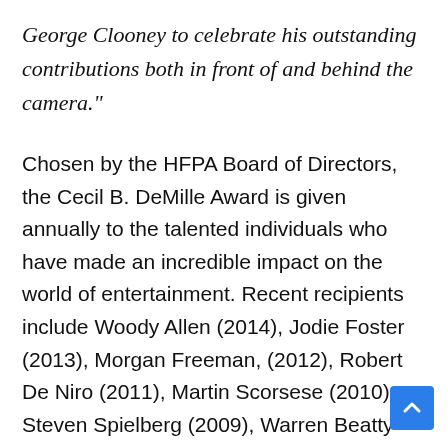George Clooney to celebrate his outstanding contributions both in front of and behind the camera."
Chosen by the HFPA Board of Directors, the Cecil B. DeMille Award is given annually to the talented individuals who have made an incredible impact on the world of entertainment. Recent recipients include Woody Allen (2014), Jodie Foster (2013), Morgan Freeman, (2012), Robert De Niro (2011), Martin Scorsese (2010), Steven Spielberg (2009), Warren Beatty (2007), Anthony Hopkins (2006), Robin Williams (2005), Michael Douglas (2004), Gene Hackman (2003), Harrison Ford (2002), Al Pacino (2001), and Barbra Streisand (2000).